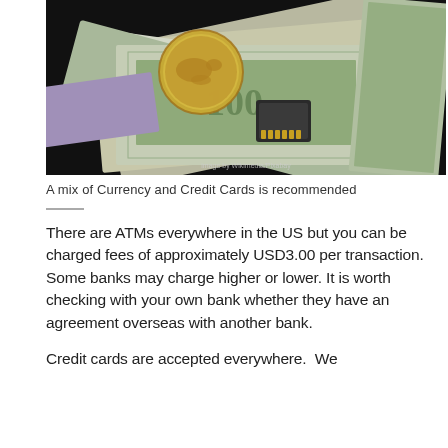[Figure (photo): A photograph showing a mix of US dollar bills, a gold coin with a world map engraved on it, and a memory card (SD card), arranged on a dark background. A watermark reading 'image by Wikimedia/Pixabay' is visible in the bottom right.]
A mix of Currency and Credit Cards is recommended
There are ATMs everywhere in the US but you can be charged fees of approximately USD3.00 per transaction. Some banks may charge higher or lower. It is worth checking with your own bank whether they have an agreement overseas with another bank.
Credit cards are accepted everywhere.  We